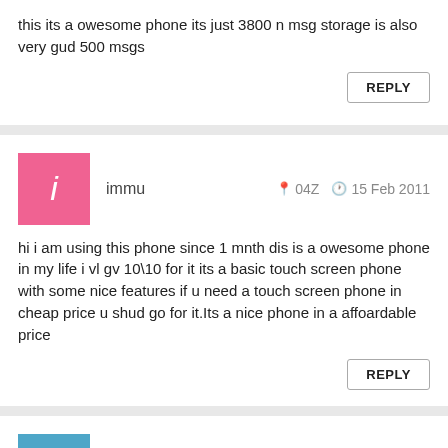this its a owesome phone its just 3800 n msg storage is also very gud 500 msgs
REPLY
immu  04Z  15 Feb 2011
hi i am using this phone since 1 mnth dis is a owesome phone in my life i vl gv 10\10 for it its a basic touch screen phone with some nice features if u need a touch screen phone in cheap price u shud go for it.Its a nice phone in a affoardable price
REPLY
mr.goodwill  utk  15 Feb 2011
the touch screen is not very sensitive it can get really frustrating at